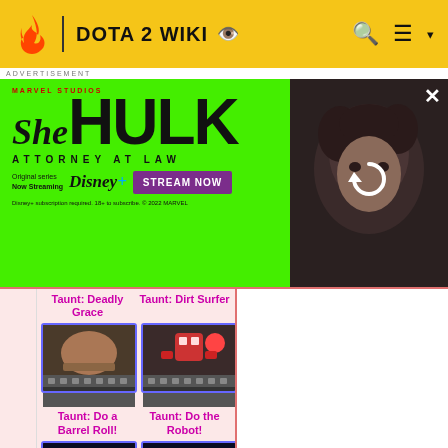DOTA 2 WIKI
[Figure (screenshot): Advertisement banner for She-Hulk: Attorney at Law on Disney+, green background with Marvel Studios branding, Stream Now button, and photo of actress]
Taunt: Deadly Grace
Taunt: Dirt Surfer
[Figure (screenshot): Taunt: Do a Barrel Roll! - game character animation thumbnail with film strip]
[Figure (screenshot): Taunt: Do the Robot! - game character animation thumbnail with film strip]
Taunt: Do a Barrel Roll!
Taunt: Do the Robot!
[Figure (screenshot): Blue glowing character taunt animation thumbnail]
[Figure (screenshot): Blue creature taunt animation thumbnail]